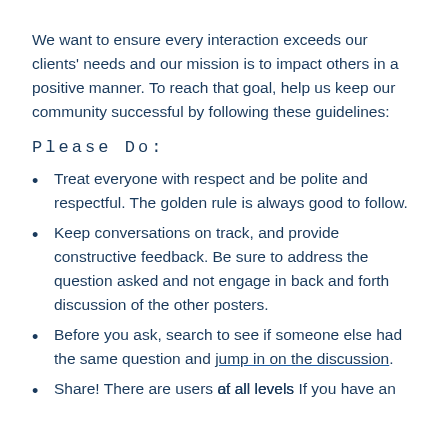We want to ensure every interaction exceeds our clients' needs and our mission is to impact others in a positive manner. To reach that goal, help us keep our community successful by following these guidelines:
Please Do:
Treat everyone with respect and be polite and respectful. The golden rule is always good to follow.
Keep conversations on track, and provide constructive feedback. Be sure to address the question asked and not engage in back and forth discussion of the other posters.
Before you ask, search to see if someone else had the same question and jump in on the discussion.
Share! There are users at all levels. If you have an